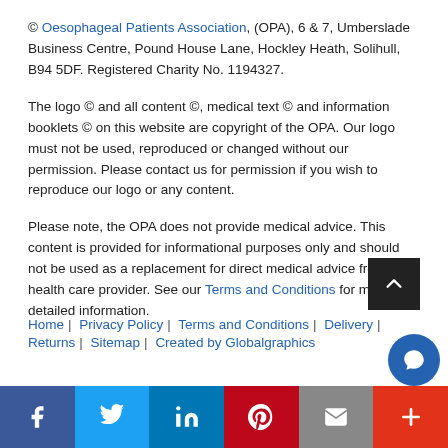© Oesophageal Patients Association, (OPA), 6 & 7, Umberslade Business Centre, Pound House Lane, Hockley Heath, Solihull, B94 5DF. Registered Charity No. 1194327.
The logo © and all content ©, medical text © and information booklets © on this website are copyright of the OPA. Our logo must not be used, reproduced or changed without our permission. Please contact us for permission if you wish to reproduce our logo or any content.
Please note, the OPA does not provide medical advice. This content is provided for informational purposes only and should not be used as a replacement for direct medical advice from your health care provider. See our Terms and Conditions for more detailed information.
Home | Privacy Policy | Terms and Conditions | Delivery | Returns | Sitemap | Created by Globalgraphics